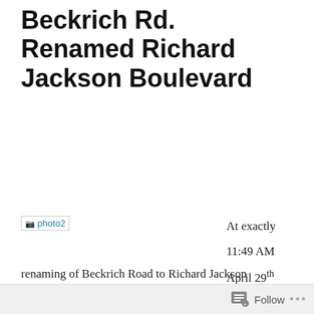Beckrich Rd. Renamed Richard Jackson Boulevard
[Figure (photo): photo2 - a photo placeholder image labeled 'photo2']
At exactly 11:49 AM April 29th Mayor Gayle Oberst made the renaming of Beckrich Road to Richard Jackson Boulevard official, honoring the long time city manager
Follow ...